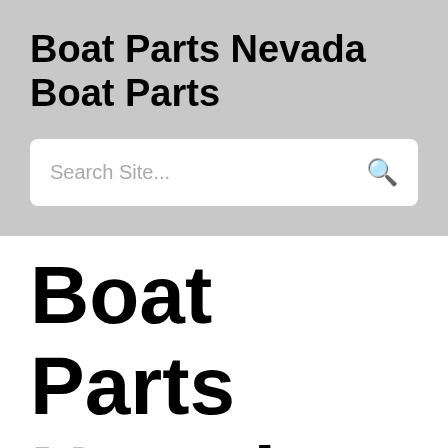Boat Parts Nevada Boat Parts
Search Site...
Boat Parts Nevada For